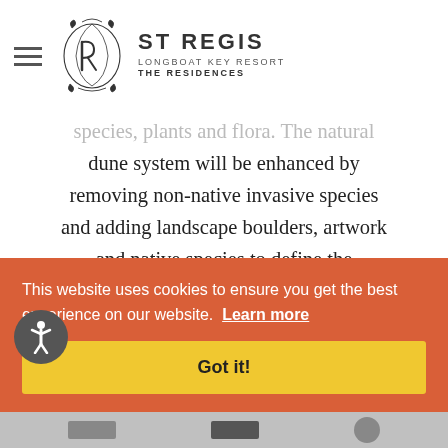ST REGIS LONGBOAT KEY RESORT THE RESIDENCES
species, plants and flora. The natural dune system will be enhanced by removing non-native invasive species and adding landscape boulders, artwork and native species to define the outdoor amenity areas.
This website uses cookies to ensure you get the best experience on our website. Learn more
Got it!